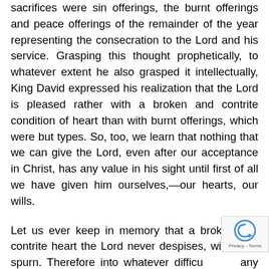sacrifices were sin offerings, the burnt offerings and peace offerings of the remainder of the year representing the consecration to the Lord and his service. Grasping this thought prophetically, to whatever extent he also grasped it intellectually, King David expressed his realization that the Lord is pleased rather with a broken and contrite condition of heart than with burnt offerings, which were but types. So, too, we learn that nothing that we can give the Lord, even after our acceptance in Christ, has any value in his sight until first of all we have given him ourselves,—our hearts, our wills.
Let us ever keep in memory that a broken and contrite heart the Lord never despises, will never spurn. Therefore into whatever difficulties any of the Lord's people of the New Creation may stumble, if they find themselves having come from the valley of humiliation and